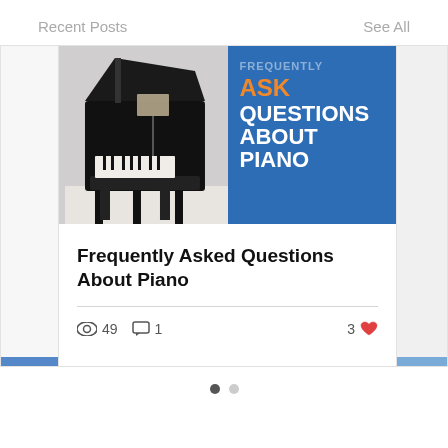Recent Posts
See All
[Figure (screenshot): Blog post card showing a piano with overlay text 'ASK QUESTIONS ABOUT PIANO' on a blue background. Below the image: title 'Frequently Asked Questions About Piano', stats showing 49 views, 1 comment, 3 likes.]
Frequently Asked Questions About Piano
49   1   3